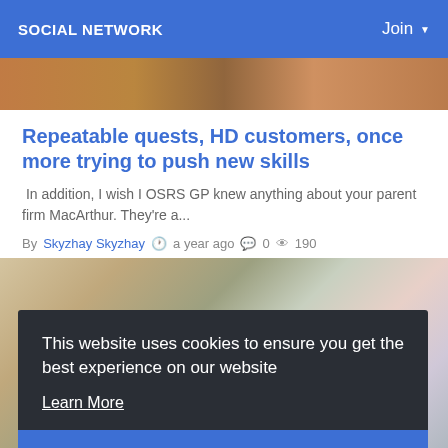SOCIAL NETWORK    Join
[Figure (photo): Partial hero image visible at top, showing people in warm tones]
Repeatable quests, HD customers, once more trying to push new skills
In addition, I wish I OSRS GP knew anything about your parent firm MacArthur. They're a...
By Skyzhay Skyzhay  a year ago  0  190
[Figure (photo): Colorful flat lay photo of art supplies, decorations, flowers and papers]
This website uses cookies to ensure you get the best experience on our website
Learn More
Got It!